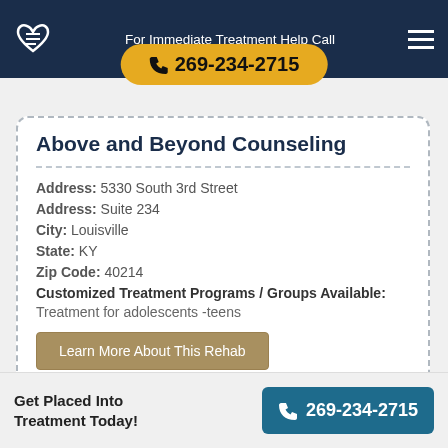For Immediate Treatment Help Call
269-234-2715
Above and Beyond Counseling
Address: 5330 South 3rd Street
Address: Suite 234
City: Louisville
State: KY
Zip Code: 40214
Customized Treatment Programs / Groups Available: Treatment for adolescents -teens
Learn More About This Rehab
Get Placed Into Treatment Today!
269-234-2715